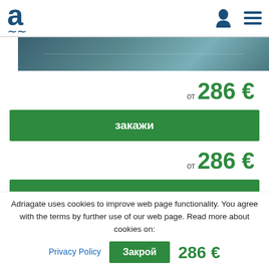Adriagate logo and navigation icons
[Figure (photo): Hotel exterior or pool area photo, partially visible]
от 286 €
закажи
от 286 €
закажи
от 286 €
закажи
Adriagate uses cookies to improve web page functionality. You agree with the terms by further use of our web page. Read more about cookies on:
Privacy Policy
Закрой
286 €